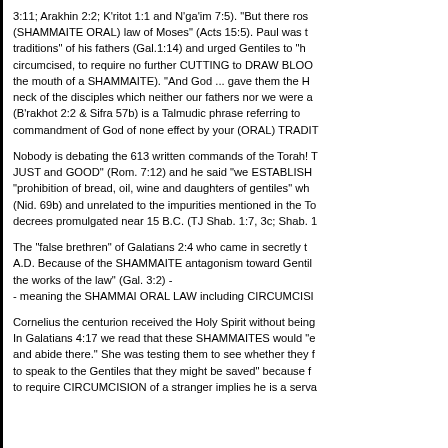3:11; Arakhin 2:2; K'ritot 1:1 and N'ga'im 7:5). "But there rose (SHAMMAITE ORAL) law of Moses" (Acts 15:5). Paul was traditions" of his fathers (Gal.1:14) and urged Gentiles to "h circumcised, to require no further CUTTING to DRAW BLOO the mouth of a SHAMMAITE). "And God ... gave them the H neck of the disciples which neither our fathers nor we were a (B'rakhot 2:2 & Sifra 57b) is a Talmudic phrase referring to commandment of God of none effect by your (ORAL) TRADI
Nobody is debating the 613 written commands of the Torah! JUST and GOOD" (Rom. 7:12) and he said "we ESTABLISH "prohibition of bread, oil, wine and daughters of gentiles" wh (Nid. 69b) and unrelated to the impurities mentioned in the T decrees promulgated near 15 B.C. (TJ Shab. 1:7, 3c; Shab. 1
The "false brethren" of Galatians 2:4 who came in secretly t A.D. Because of the SHAMMAITE antagonism toward Gentil the works of the law" (Gal. 3:2) -
- meaning the SHAMMAI ORAL LAW including CIRCUMCISI
Cornelius the centurion received the Holy Spirit without being In Galatians 4:17 we read that these SHAMMAITES would "e and abide there." She was testing them to see whether they f to speak to the Gentiles that they might be saved" because f to require CIRCUMCISION of a stranger implies he is a serva